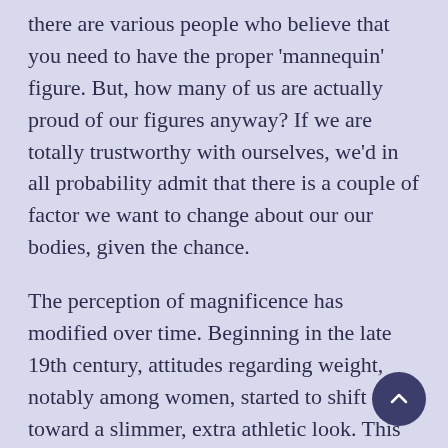there are various people who believe that you need to have the proper 'mannequin' figure. But, how many of us are actually proud of our figures anyway? If we are totally trustworthy with ourselves, we'd in all probability admit that there is a couple of factor we want to change about our our bodies, given the chance.
The perception of magnificence has modified over time. Beginning in the late 19th century, attitudes regarding weight, notably among women, started to shift toward a slimmer, extra athletic look. This modification brought about a search for solutions that may make losing weight